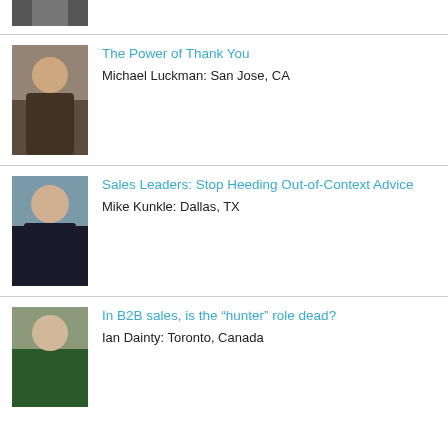[Figure (photo): Partial photo of a person in a suit, cropped at top of page]
[Figure (photo): Photo of Michael Luckman, a man in a suit with glasses, smiling, bookshelf in background]
The Power of Thank You
Michael Luckman: San Jose, CA
[Figure (photo): Photo of Mike Kunkle, a middle-aged man with glasses and beard, smiling]
Sales Leaders: Stop Heeding Out-of-Context Advice
Mike Kunkle: Dallas, TX
[Figure (photo): Photo of Ian Dainty, a man in a green jacket with a tie, smiling]
In B2B sales, is the “hunter” role dead?
Ian Dainty: Toronto, Canada